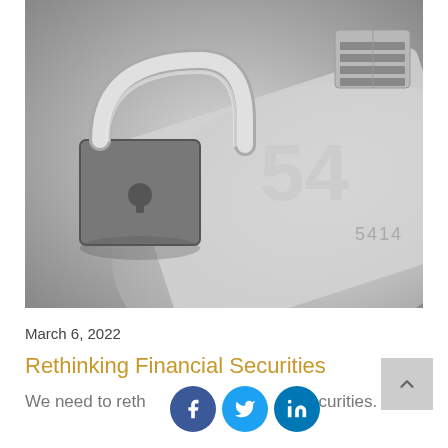[Figure (photo): Black and white close-up photo of a padlock resting on a credit card showing partial number 5414]
March 6, 2022
Rethinking Financial Securities
We need to reth…securities.